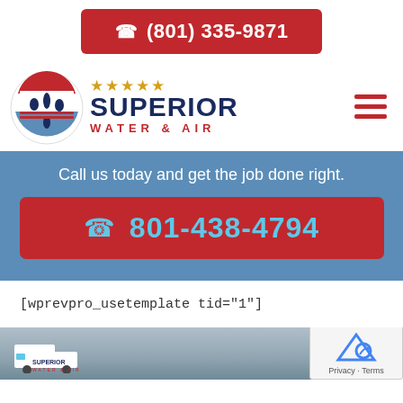[Figure (logo): Red button with phone icon and phone number (801) 335-9871 in white text]
[Figure (logo): Superior Water & Air logo with circular emblem, five gold stars, dark blue SUPERIOR text, red WATER & AIR text]
Call us today and get the job done right.
801-438-4794
[wprevpro_usetemplate tid="1"]
[Figure (photo): Bottom portion of page showing a Superior Water & Air van parked in front of a house]